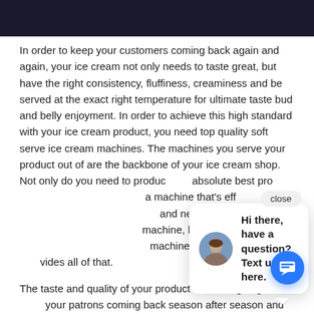[Figure (photo): Dark banner image at top of page]
In order to keep your customers coming back again and again, your ice cream not only needs to taste great, but have the right consistency, fluffiness, creaminess and be served at the exact right temperature for ultimate taste bud and belly enjoyment. In order to achieve this high standard with your ice cream product, you need top quality soft serve ice cream machines. The machines you serve your product out of are the backbone of your ice cream shop. Not only do you need to produce the absolute best product in every serving, you need a machine that's efficient, keeps your product at the right temp and never breaks down. Not every machine is the right machine, but there are top quality soft serve ice cream machines who provides all of that.
[Figure (screenshot): Chat popup widget with avatar photo of woman, message 'Hi there, have a question? Text us here.' and a close button, plus a blue circular chat button at bottom right.]
The taste and quality of your product is what's going to keep your patrons coming back season after season and top quality soft serve ice cream machines will help you do that. You see, it's